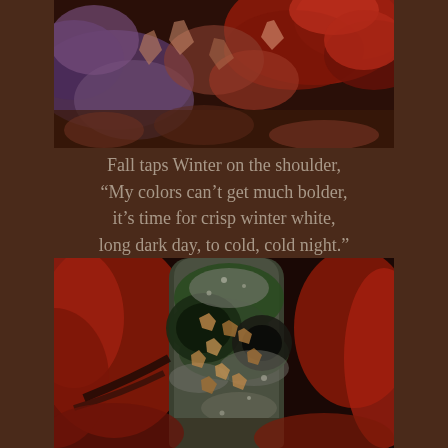[Figure (photo): Close-up photograph of red Japanese maple leaves and colorful autumn foliage against a dark background]
Fall taps Winter on the shoulder,
“My colors can’t get much bolder,
it’s time for crisp winter white,
long dark day, to cold, cold night.”
[Figure (photo): Close-up photograph of a tree trunk covered in green moss with dead leaves stuck to it, surrounded by red autumn foliage]